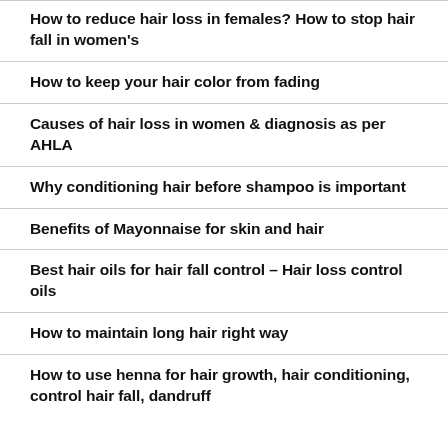How to reduce hair loss in females? How to stop hair fall in women’s
How to keep your hair color from fading
Causes of hair loss in women & diagnosis as per AHLA
Why conditioning hair before shampoo is important
Benefits of Mayonnaise for skin and hair
Best hair oils for hair fall control – Hair loss control oils
How to maintain long hair right way
How to use henna for hair growth, hair conditioning, control hair fall, dandruff